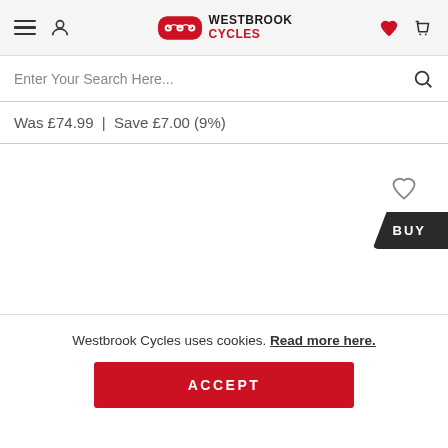Westbrook Cycles - navigation header with hamburger menu, user icon, logo, heart icon, basket icon
Enter Your Search Here...
Was £74.99  |  Save £7.00 (9%)
[Figure (other): Heart/wishlist outline icon and a dark BUY button with chevron shape]
Westbrook Cycles uses cookies. Read more here.
ACCEPT